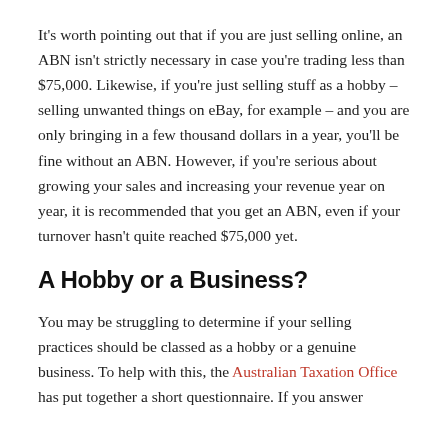It's worth pointing out that if you are just selling online, an ABN isn't strictly necessary in case you're trading less than $75,000. Likewise, if you're just selling stuff as a hobby – selling unwanted things on eBay, for example – and you are only bringing in a few thousand dollars in a year, you'll be fine without an ABN. However, if you're serious about growing your sales and increasing your revenue year on year, it is recommended that you get an ABN, even if your turnover hasn't quite reached $75,000 yet.
A Hobby or a Business?
You may be struggling to determine if your selling practices should be classed as a hobby or a genuine business. To help with this, the Australian Taxation Office has put together a short questionnaire. If you answer